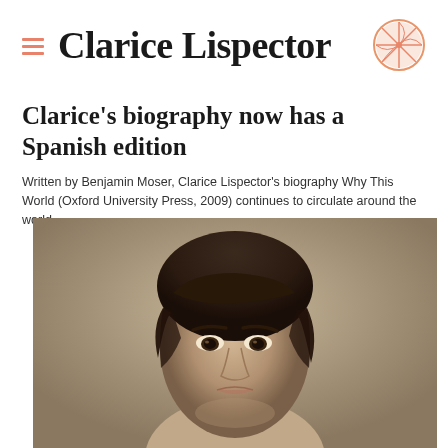Clarice Lispector
Clarice's biography now has a Spanish edition
Written by Benjamin Moser, Clarice Lispector's biography Why This World (Oxford University Press, 2009) continues to circulate around the world.
[Figure (photo): Black and white sepia portrait photograph of Clarice Lispector, showing her face and short dark hair, looking slightly to the side with an intense expression.]